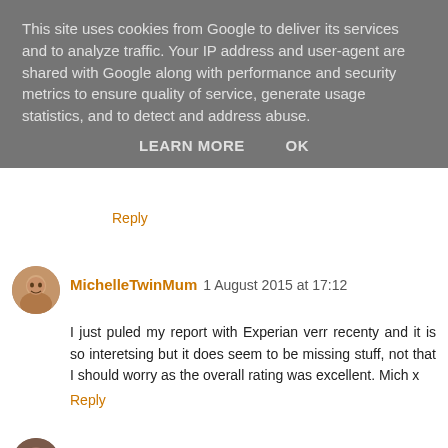This site uses cookies from Google to deliver its services and to analyze traffic. Your IP address and user-agent are shared with Google along with performance and security metrics to ensure quality of service, generate usage statistics, and to detect and address abuse.
LEARN MORE    OK
Reply
MichelleTwinMum 1 August 2015 at 17:12
I just puled my report with Experian verr recenty and it is so interetsing but it does seem to be missing stuff, not that I should worry as the overall rating was excellent. Mich x
Reply
Rachel Selby 2 August 2015 at 18:42
I don't have a credt card - only a debt card. However I recently went into my mortgage bank to see what's what